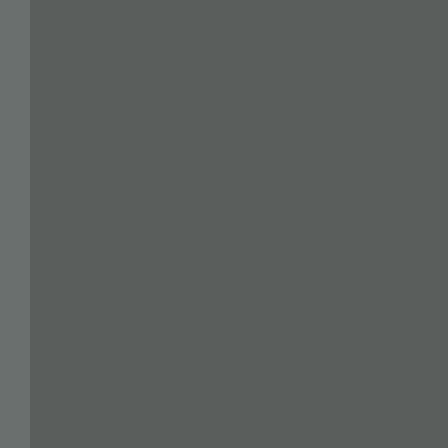[Figure (photo): A torn or rough-edged dark gray page or surface occupying the left portion of the page, suggesting a ripped book or document edge effect.]
the sidewalk. Toothless Chu Ryan came ove Ian the previou
I said, “Lots of person some t
Ryan said, “I wa talked for a wh so I bought be yesterday.”
I assured him
“I heard the